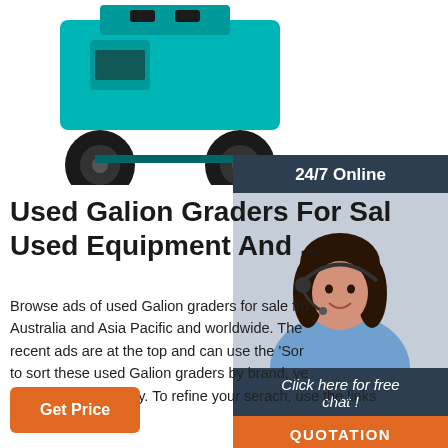[Figure (photo): Teal/turquoise forklift or heavy equipment machine viewed from front/side, showing large black tires and teal body]
Used Galion Graders For Sale Used Equipment And ...
Browse ads of used Galion graders for sale from Australia and Asia Pacific and worldwide. The recent ads are at the top and can use the 'Sort' to sort these used Galion graders by brand, year, hours of use, country. To refine your serach, use the links on ...
[Figure (photo): 24/7 Online support widget with woman wearing headset smiling, with Click here for free chat and QUOTATION button]
Get Price